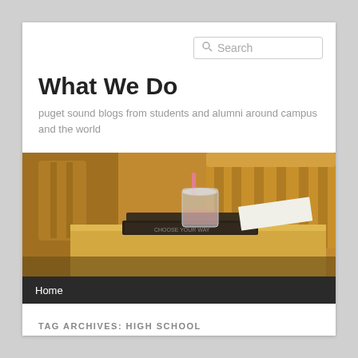Search
What We Do
puget sound blogs from students and alumni around campus and the world
[Figure (photo): Photo of a wooden desk with stacked books and a plastic cup with a pink straw, wooden chairs in the background, warm amber tones]
Home
TAG ARCHIVES: HIGH SCHOOL